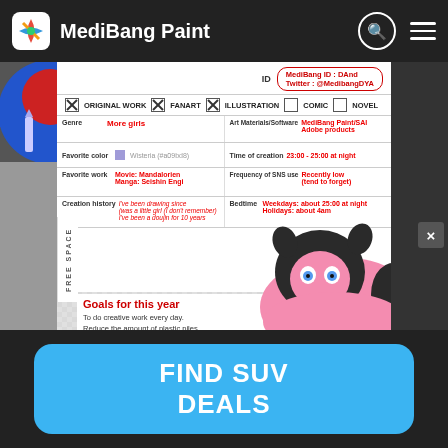MediBang Paint
[Figure (screenshot): MediBang Paint website screenshot showing an artist profile card with ID MediBang ID: DAnd / Twitter: @MedibangDYA, checkboxes for Original Work (checked), Fanart (checked), Illustration (checked), Comic (unchecked), Novel (unchecked). Fields: Genre: More girls, Favorite color: Wisteria (#a09bd8), Favorite work: Movie: Mandalorian / Manga: Seishin Engi, Creation history (italic), Art Materials/Software: MediBang Paint/SAI Adobe products, Time of creation: 23:00 - 25:00 at night, Frequency of SNS use: Recently low (tend to forget), Bedtime: Weekdays: about 25:00 at night / Holidays: about 4am. Goals for this year: To do creative work every day. Reduce the amount of plastic piles. Learn to 3D print and use Live2D. Move to a new house.]
[Figure (illustration): Cartoon creature illustration (pink and dark, large eyes) partially visible on right side]
FIND SUV DEALS